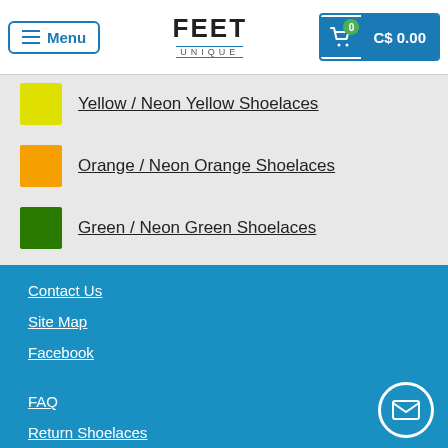Menu | FEET UNIQUE | C$ 0.00
Yellow / Neon Yellow Shoelaces
Orange / Neon Orange Shoelaces
Green / Neon Green Shoelaces
Purple Shoelaces
Contact Us
Site Map
Facebook
FAQ
Return Shoelaces
About Us
Shipping and Delivery